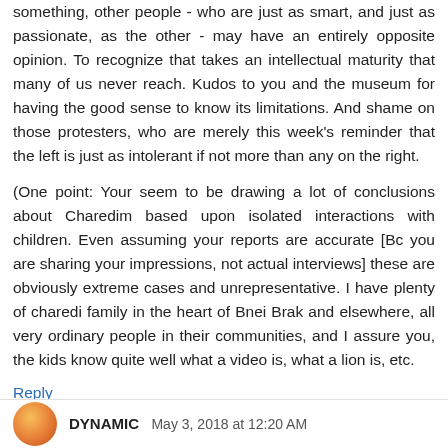something, other people - who are just as smart, and just as passionate, as the other - may have an entirely opposite opinion. To recognize that takes an intellectual maturity that many of us never reach. Kudos to you and the museum for having the good sense to know its limitations. And shame on those protesters, who are merely this week's reminder that the left is just as intolerant if not more than any on the right.
(One point: Your seem to be drawing a lot of conclusions about Charedim based upon isolated interactions with children. Even assuming your reports are accurate [Bc you are sharing your impressions, not actual interviews] these are obviously extreme cases and unrepresentative. I have plenty of charedi family in the heart of Bnei Brak and elsewhere, all very ordinary people in their communities, and I assure you, the kids know quite well what a video is, what a lion is, etc.
Reply
DYNAMIC   May 3, 2018 at 12:20 AM